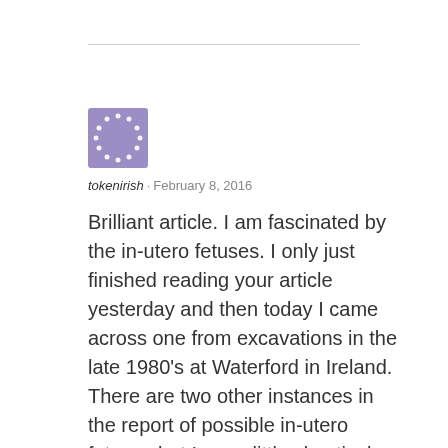[Figure (illustration): Purple square avatar with white dots arranged in a circular pattern, resembling a decorative icon placeholder]
tokenirish · February 8, 2016
Brilliant article. I am fascinated by the in-utero fetuses. I only just finished reading your article yesterday and then today I came across one from excavations in the late 1980's at Waterford in Ireland. There are two other instances in the report of possible in-utero fetuses but I am a little skeptical. Have come across this report before? .